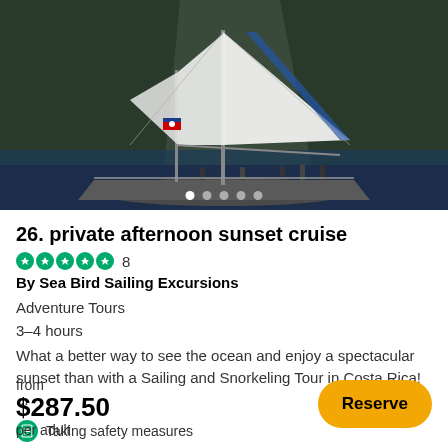[Figure (photo): Aerial or elevated view of a sailing vessel with white sails on ocean water near rocky cliffs, with people visible on deck and a Costa Rican flag.]
26. private afternoon sunset cruise
8
By Sea Bird Sailing Excursions
Adventure Tours
3–4 hours
What a better way to see the ocean and enjoy a spectacular sunset than with a Sailing and Snorkeling Tour in Costa Rica! ...
Taking safety measures
Free cancellation
from
$287.50
per adult